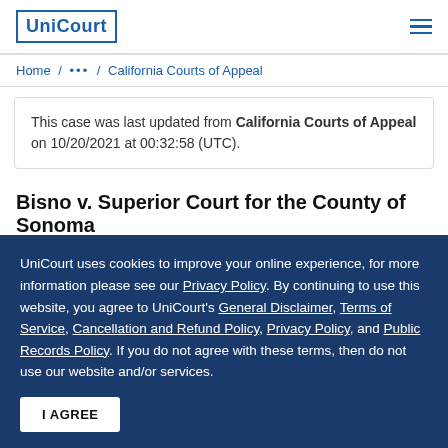UniCourt
Home / ... / California Courts of Appeal
This case was last updated from California Courts of Appeal on 10/20/2021 at 00:32:58 (UTC).
Bisno v. Superior Court for the County of Sonoma
UniCourt uses cookies to improve your online experience, for more information please see our Privacy Policy. By continuing to use this website, you agree to UniCourt's General Disclaimer, Terms of Service, Cancellation and Refund Policy, Privacy Policy, and Public Records Policy. If you do not agree with these terms, then do not use our website and/or services.
I AGREE